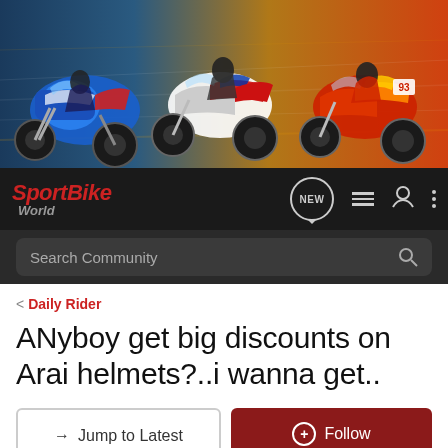[Figure (photo): Banner image showing sport motorcycles racing, with colorful bikes including blue, white/red, and red bikes on a blurred track background]
[Figure (logo): SportBike World logo in red italic text with 'World' in gray below, on dark navigation bar with NEW bubble icon, list icon, user icon, and three-dot menu icon]
Search Community
< Daily Rider
ANyboy get big discounts on Arai helmets?..i wanna get..
→ Jump to Latest
+ Follow
1 - 10 of 10 Posts